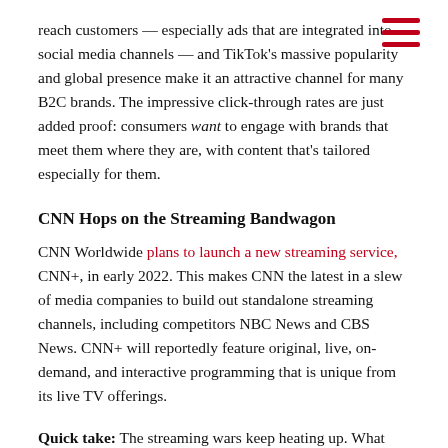reach customers — especially ads that are integrated into social media channels — and TikTok's massive popularity and global presence make it an attractive channel for many B2C brands. The impressive click-through rates are just added proof: consumers want to engage with brands that meet them where they are, with content that's tailored especially for them.
CNN Hops on the Streaming Bandwagon
CNN Worldwide plans to launch a new streaming service, CNN+, in early 2022. This makes CNN the latest in a slew of media companies to build out standalone streaming channels, including competitors NBC News and CBS News. CNN+ will reportedly feature original, live, on-demand, and interactive programming that is unique from its live TV offerings.
Quick take: The streaming wars keep heating up. What